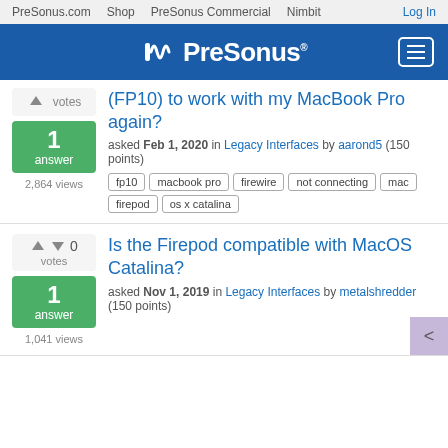PreSonus.com  Shop  PreSonus Commercial  Nimbit  Log In
[Figure (logo): PreSonus logo on blue header bar with hamburger menu icon]
(FP10) to work with my MacBook Pro again?
asked Feb 1, 2020 in Legacy Interfaces by aarond5 (150 points)
fp10
macbook pro
firewire
not connecting
mac
firepod
os x catalina
Is the Firepod compatible with MacOS Catalina?
asked Nov 1, 2019 in Legacy Interfaces by metalshredder (150 points)